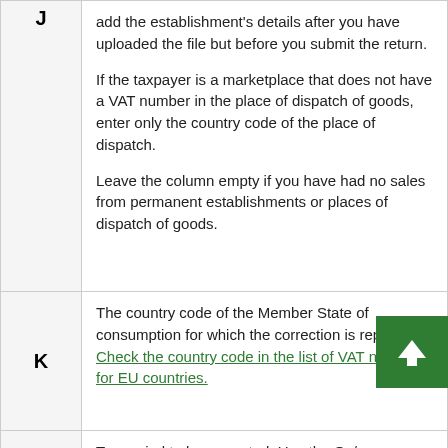| Column | Description |
| --- | --- |
| J | add the establishment's details after you have uploaded the file but before you submit the return.

If the taxpayer is a marketplace that does not have a VAT number in the place of dispatch of goods, enter only the country code of the place of dispatch.

Leave the column empty if you have had no sales from permanent establishments or places of dispatch of goods. |
| K | The country code of the Member State of consumption for which the correction is reported. Check the country code in the list of VAT numbers for EU countries. |
| L | Tax period to be corrected. Use the Ox/yyyy |